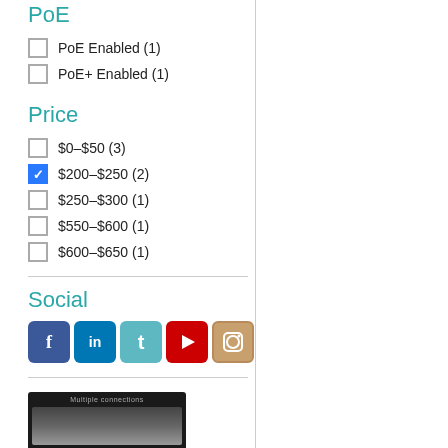PoE
PoE Enabled (1)
PoE+ Enabled (1)
Price
$0–$50 (3)
$200–$250 (2)
$250–$300 (1)
$550–$600 (1)
$600–$650 (1)
Social
[Figure (infographic): Row of social media icons: Facebook, LinkedIn, Twitter, YouTube, Instagram]
[Figure (photo): Partial screenshot of a device/product photo at the bottom]